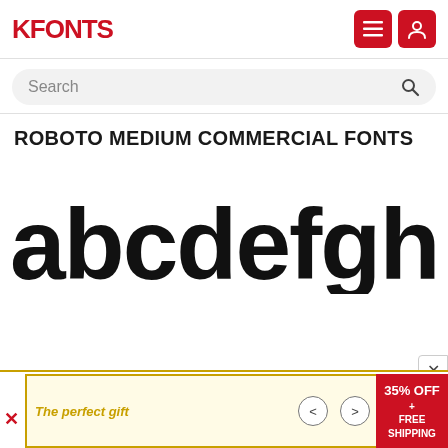FFONTS
Search
ROBOTO MEDIUM COMMERCIAL FONTS
[Figure (illustration): Large font preview showing lowercase letters: abcdefghijklm in bold sans-serif (Roboto Medium style)]
The perfect gift   <   >   35% OFF + FREE SHIPPING